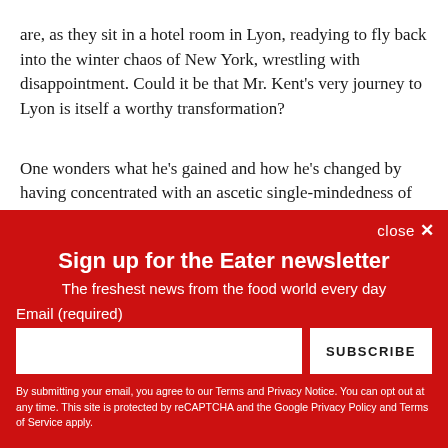are, as they sit in a hotel room in Lyon, readying to fly back into the winter chaos of New York, wrestling with disappointment. Could it be that Mr. Kent's very journey to Lyon is itself a worthy transformation?

One wonders what he's gained and how he's changed by having concentrated with an ascetic single-mindedness of purpose for over eighteen months on the creation and
close ✕
Sign up for the Eater newsletter
The freshest news from the food world every day
Email (required)
SUBSCRIBE
By submitting your email, you agree to our Terms and Privacy Notice. You can opt out at any time. This site is protected by reCAPTCHA and the Google Privacy Policy and Terms of Service apply.